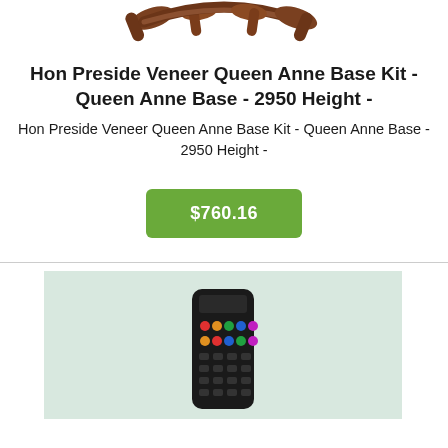[Figure (photo): Partial view of a wooden chair base with curved Queen Anne style legs, shown from above on white background]
Hon Preside Veneer Queen Anne Base Kit - Queen Anne Base - 2950 Height -
Hon Preside Veneer Queen Anne Base Kit - Queen Anne Base - 2950 Height -
$760.16
[Figure (photo): A black TV remote control on a light mint/green background]